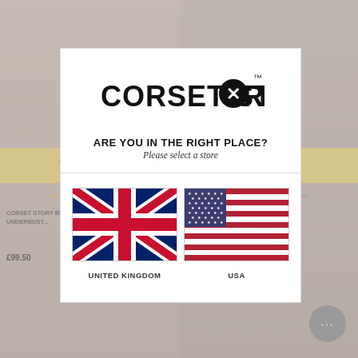[Figure (screenshot): Background e-commerce page showing corset products with yellow multibuy banner, star ratings, and product text]
[Figure (logo): Corset Story brand logo in black lettering with TM mark]
ARE YOU IN THE RIGHT PLACE?
Please select a store
[Figure (illustration): UK Union Jack flag]
UNITED KINGDOM
[Figure (illustration): USA Stars and Stripes flag]
USA